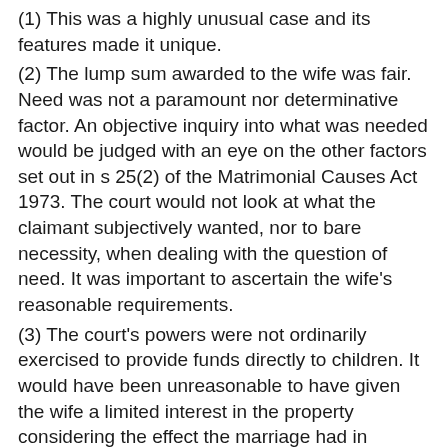(1) This was a highly unusual case and its features made it unique.
(2) The lump sum awarded to the wife was fair. Need was not a paramount nor determinative factor. An objective inquiry into what was needed would be judged with an eye on the other factors set out in s 25(2) of the Matrimonial Causes Act 1973. The court would not look at what the claimant subjectively wanted, nor to bare necessity, when dealing with the question of need. It was important to ascertain the wife's reasonable requirements.
(3) The court's powers were not ordinarily exercised to provide funds directly to children. It would have been unreasonable to have given the wife a limited interest in the property considering the effect the marriage had in causing long-term prejudice to the wife's earning capacity and financial affairs.
(4) The periodical payments awards were high but did not fall outside the limits of reasonableness. The test regarding the term of the payments was whether it would be appropriate to order periodical payments only for such a term as would be sufficient to enable the payee to adjust